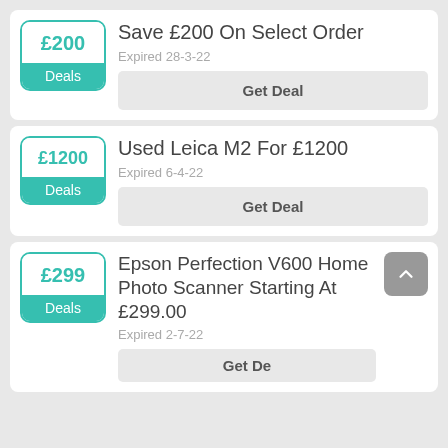Save £200 On Select Order | Expired 28-3-22 | Deals | £200
Used Leica M2 For £1200 | Expired 6-4-22 | Deals | £1200
Epson Perfection V600 Home Photo Scanner Starting At £299.00 | Expired 2-7-22 | Deals | £299